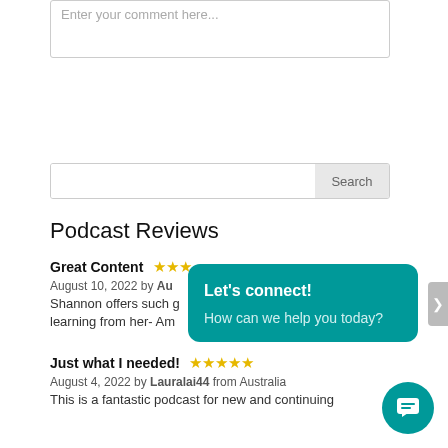Enter your comment here...
Search
Podcast Reviews
Great Content ★★★
August 10, 2022 by Au...
Shannon offers such g... learning from her- Am...
Just what I needed! ★★★★★
August 4, 2022 by Lauralai44 from Australia
This is a fantastic podcast for new and continuing
[Figure (screenshot): Chat popup widget with teal background showing 'Let's connect!' and 'How can we help you today?' with a chat icon button]